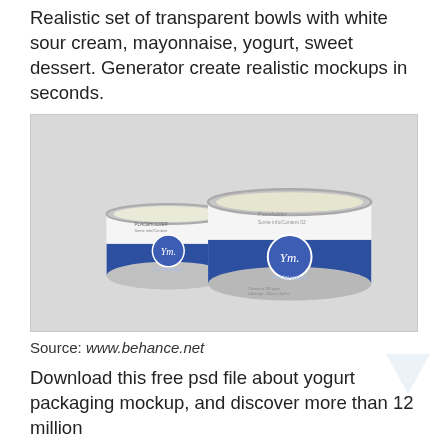Realistic set of transparent bowls with white sour cream, mayonnaise, yogurt, sweet dessert. Generator create realistic mockups in seconds.
[Figure (photo): Two yogurt containers with blue and white label on a grey background. A smaller and a larger container, both with a circular logo reading 'Ym.' and text 'low fat yogurt'.]
Source: www.behance.net
Download this free psd file about yogurt packaging mockup, and discover more than 12 million